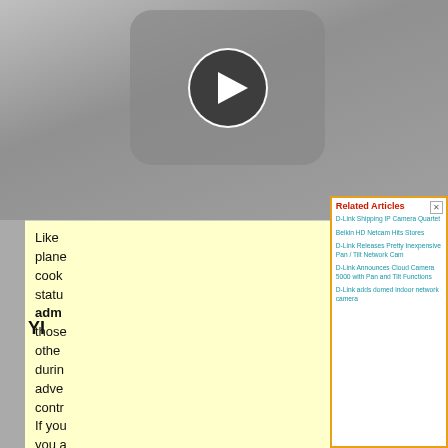[Figure (screenshot): Background showing a video player thumbnail with a play button icon in the upper portion of the page, and a yellow sidebar text area below it showing partial article text.]
Related Articles
D-Link Shipping IP Camera Quartet
Belkin HD Netcam Hits Stores
D-Link Releases Pretty Inexpensive Pan / Tilt Network Cam
D-Link Announces Cloud Camera 5000 with Pan and Tilt Functions
D-Link adds domed indoor network camera